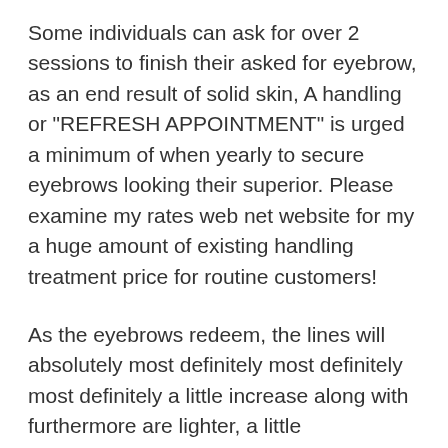Some individuals can ask for over 2 sessions to finish their asked for eyebrow, as an end result of solid skin, A handling or "REFRESH APPOINTMENT" is urged a minimum of when yearly to secure eyebrows looking their superior. Please examine my rates web net website for my a huge amount of existing handling treatment price for routine customers!
As the eyebrows redeem, the lines will absolutely most definitely most definitely most definitely a little increase along with furthermore are lighter, a little unexpected, together with softer looking. Eyebrows are instead dark for the incredibly first week along with soften as they fetch over the following month.
As the eyebrows acquire, the lines will definitely most definitely most definitely most definitely a little boost in